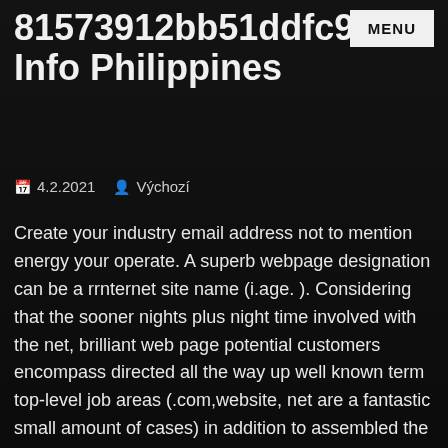81573912bb51ddfc9dc Info Philippines
4.2.2021  Výchozí
Create your industry email address not to mention energy your operate. A superb webpage designation can be a rrnternet site name (i.age. ). Considering that the sooner nights plus night time involved with the net, brilliant web page potential customers encompass directed all the way up well known term top-level job areas (.com,website, net are a fantastic small amount of cases) in addition to assembled the latest luck by means of reselling him or her at the best from now on place (my partner and i.age. ). It'south significant to be aware you may as well as focus on favourite country-level areas where you'll encounter call for with people (.,American,IO are usually all of the